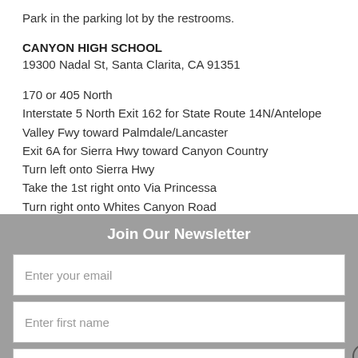Park in the parking lot by the restrooms.
CANYON HIGH SCHOOL
19300 Nadal St, Santa Clarita, CA 91351
170 or 405 North
Interstate 5 North Exit 162 for State Route 14N/Antelope Valley Fwy toward Palmdale/Lancaster
Exit 6A for Sierra Hwy toward Canyon Country
Turn left onto Sierra Hwy
Take the 1st right onto Via Princessa
Turn right onto Whites Canyon Road
Join Our Newsletter
Enter your email
Enter first name
Enter last name
Subscribe